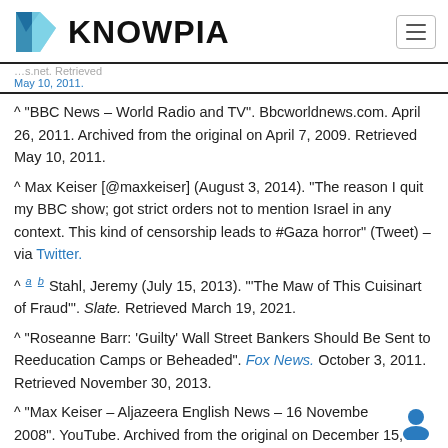KNOWPIA
^ "BBC News – World Radio and TV". Bbcworldnews.com. April 26, 2011. Archived from the original on April 7, 2009. Retrieved May 10, 2011.
^ Max Keiser [@maxkeiser] (August 3, 2014). "The reason I quit my BBC show; got strict orders not to mention Israel in any context. This kind of censorship leads to #Gaza horror" (Tweet) – via Twitter.
^ a b Stahl, Jeremy (July 15, 2013). "'The Maw of This Cuisinart of Fraud'". Slate. Retrieved March 19, 2021.
^ "Roseanne Barr: 'Guilty' Wall Street Bankers Should Be Sent to Reeducation Camps or Beheaded". Fox News. October 3, 2011. Retrieved November 30, 2013.
^ "Max Keiser – Aljazeera English News – 16 November 2008". YouTube. Archived from the original on December 15,